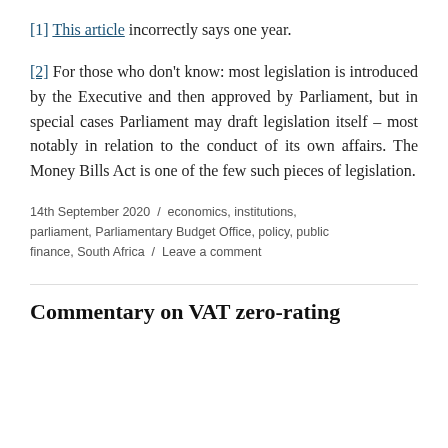[1] This article incorrectly says one year.
[2] For those who don't know: most legislation is introduced by the Executive and then approved by Parliament, but in special cases Parliament may draft legislation itself – most notably in relation to the conduct of its own affairs. The Money Bills Act is one of the few such pieces of legislation.
14th September 2020 / economics, institutions, parliament, Parliamentary Budget Office, policy, public finance, South Africa / Leave a comment
Commentary on VAT zero-rating